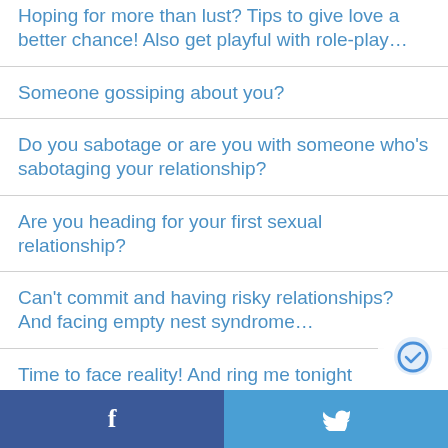Hoping for more than lust? Tips to give love a better chance! Also get playful with role-play…
Someone gossiping about you?
Do you sabotage or are you with someone who's sabotaging your relationship?
Are you heading for your first sexual relationship?
Can't commit and having risky relationships? And facing empty nest syndrome…
Time to face reality! And ring me tonight
f  [Facebook share]  [Twitter share]